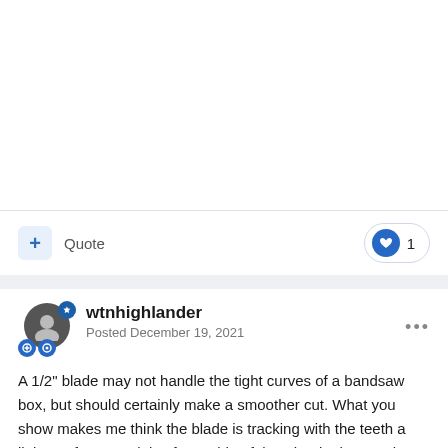[Figure (other): White empty space at top of page (content above current view)]
Quote
1
wtnhighlander
Posted December 19, 2021
A 1/2" blade may not handle the tight curves of a bandsaw box, but should certainly make a smoother cut. What you show makes me think the blade is tracking with the teeth a little too far toward the 'front' side of the wheel. That can let the blade pivot around a vertical axis a little behind the teeth, and the cut